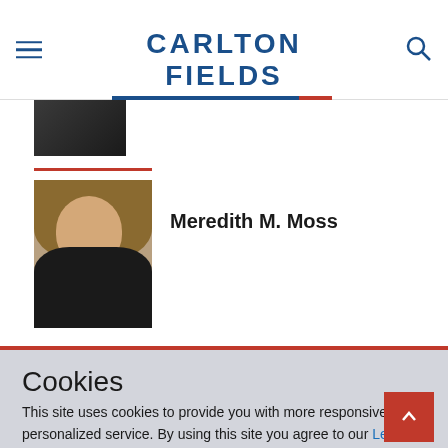CARLTON FIELDS
[Figure (photo): Partial photo of a person at top of profile list]
[Figure (photo): Headshot photo of Meredith M. Moss]
Meredith M. Moss
Cookies
This site uses cookies to provide you with more responsive and personalized service. By using this site you agree to our Legal Disclaimer and Online Privacy and Cookie Policy.
I ACCEPT